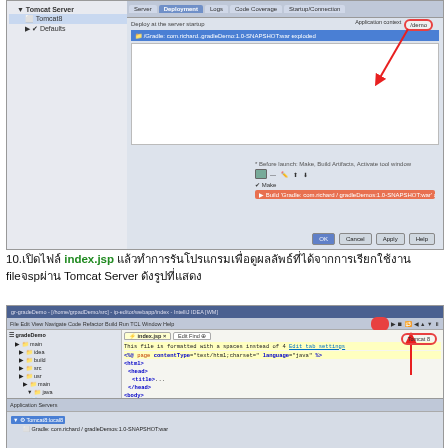[Figure (screenshot): IDE screenshot showing Tomcat Server deployment configuration dialog with highlighted application context field and red arrow annotation]
10. เปิดไฟล์ index.jsp แล้วทำการรันโปรแกรมเพื่อดูผลลัพธ์ที่ได้จากการเรียกใช้งาน fileจsp ผ่าน Tomcat Server ดังรูปที่แสดง
[Figure (screenshot): IDE screenshot showing index.jsp file open in editor with code highlighted and run server button circled]
[Figure (screenshot): Bottom panel of IDE showing Tomcat server output/console]